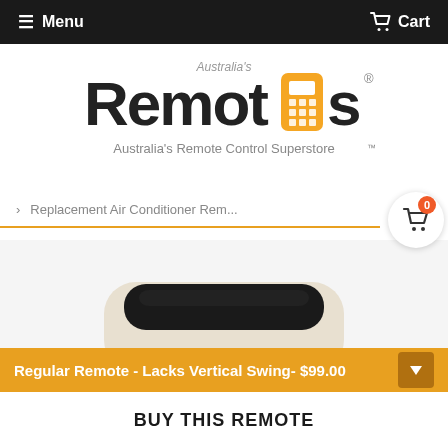Menu   Cart
[Figure (logo): Australia's Remotes logo with yellow remote control icon, text 'Remotes' and tagline 'Australia's Remote Control Superstore']
> Replacement Air Conditioner Rem...
[Figure (photo): Top portion of an air conditioner remote control unit, cream/white colored with black top panel]
Regular Remote - Lacks Vertical Swing- $99.00
BUY THIS REMOTE